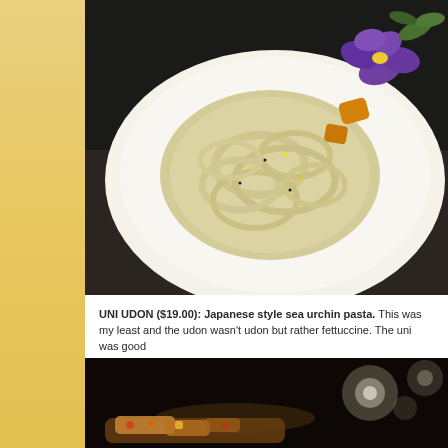[Figure (photo): Close-up photo of Uni Udon dish on a white plate — thick fettuccine-style noodles in creamy sauce garnished with purple edible flowers and orange pieces, shot from above on dark background]
UNI UDON ($19.00): Japanese style sea urchin pasta. This was my least and the udon wasn't udon but rather fettuccine. The uni was good
[Figure (photo): Dimly lit photo of a dish with food items visible at the bottom, dark background with bokeh light effects]